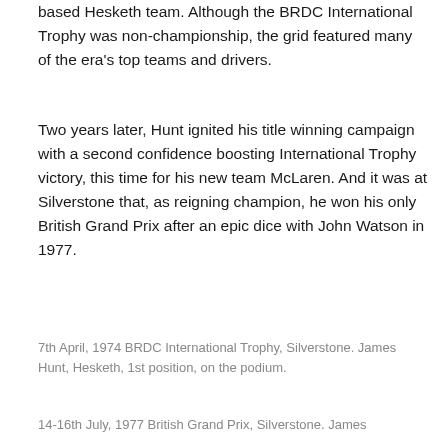based Hesketh team. Although the BRDC International Trophy was non-championship, the grid featured many of the era's top teams and drivers.
Two years later, Hunt ignited his title winning campaign with a second confidence boosting International Trophy victory, this time for his new team McLaren. And it was at Silverstone that, as reigning champion, he won his only British Grand Prix after an epic dice with John Watson in 1977.
7th April, 1974 BRDC International Trophy, Silverstone. James Hunt, Hesketh, 1st position, on the podium.
14-16th July, 1977 British Grand Prix, Silverstone. James